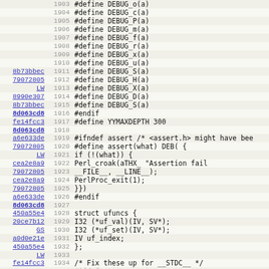Source code listing with line numbers 1903-1934, showing C preprocessor macros and struct definitions including DEBUG macros, YYMAXDEPTH define, assert macro implementation, and struct ufuncs definition.